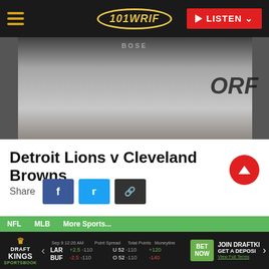101 WRIF — LISTEN
[Figure (photo): Close-up photo of a person wearing a white jacket with BOSE headphones around neck and text 'ORP' visible on jacket, dark background]
Detroit Lions v Cleveland Browns
Share
CLEVELAND, OHIO - NOVEMBER 21: Head coach Dan Campbell of the Detroit Lions while playing the Cleveland Browns at FirstEnergy Stadium on November 21, 2021 in Cleveland
NFL  MLB  More Sports...  Sep 9 12:20 AM  Point Spread  Total Points  Moneyline  LAR +2.5 -110  U 52 -110  +120  BUF -2.5 -110  O 52 -110  -140  BET NOW  JOIN DRAFTKINGS  GET A DEPOSIT  View Full Terms